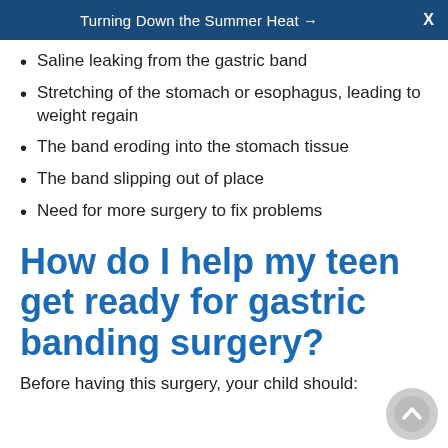Turning Down the Summer Heat → X
Saline leaking from the gastric band
Stretching of the stomach or esophagus, leading to weight regain
The band eroding into the stomach tissue
The band slipping out of place
Need for more surgery to fix problems
How do I help my teen get ready for gastric banding surgery?
Before having this surgery, your child should: